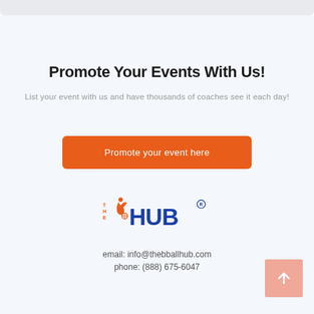Promote Your Events With Us!
List your event with us and have thousands of coaches see it each day!
Promote your event here
[Figure (logo): THE HUB basketball logo with orange player dribbling and blue HUB text with registered trademark symbol]
email: info@thebballhub.com
phone: (888) 675-6047